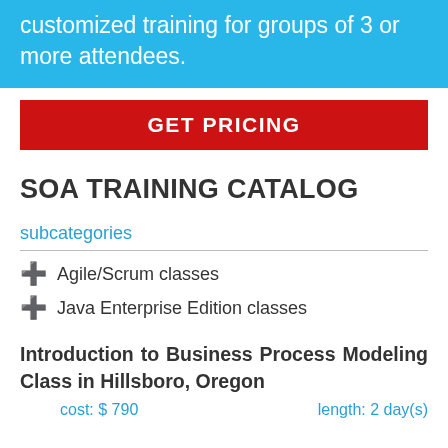customized training for groups of 3 or more attendees.
GET PRICING
SOA TRAINING CATALOG
subcategories
Agile/Scrum classes
Java Enterprise Edition classes
Introduction to Business Process Modeling Class in Hillsboro, Oregon
cost: $ 790    length: 2 day(s)